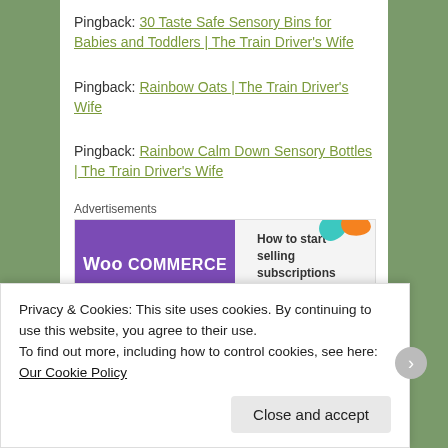Pingback: 30 Taste Safe Sensory Bins for Babies and Toddlers | The Train Driver's Wife
Pingback: Rainbow Oats | The Train Driver's Wife
Pingback: Rainbow Calm Down Sensory Bottles | The Train Driver's Wife
Advertisements
[Figure (other): WooCommerce advertisement banner: purple background with WooCommerce logo on left, text 'How to start selling subscriptions online' on right with colorful blob shapes]
Privacy & Cookies: This site uses cookies. By continuing to use this website, you agree to their use.
To find out more, including how to control cookies, see here: Our Cookie Policy
Close and accept